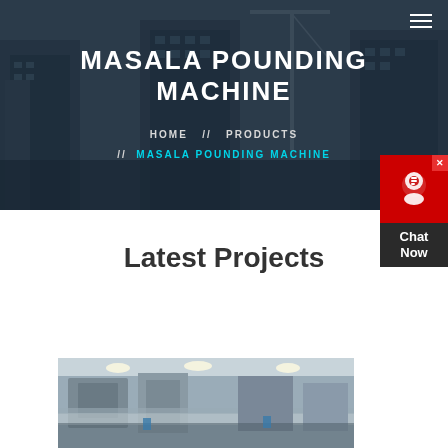MASALA POUNDING MACHINE
HOME // PRODUCTS // MASALA POUNDING MACHINE
Latest Projects
[Figure (photo): Industrial machinery in a factory setting, showing heavy equipment conveyor structures with overhead lighting]